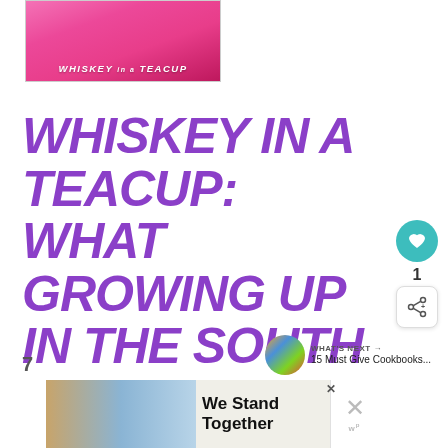[Figure (photo): Book cover of 'Whiskey in a Teacup' — pink cover with a woman in a pink lace dress, with the title text 'WHISKEY in a TEACUP' in white italic letters]
WHISKEY IN A TEACUP: WHAT GROWING UP IN THE SOUTH
[Figure (other): Teal circular heart/like button icon]
1
[Figure (other): Share button with network/plus icon]
WHAT'S NEXT → 15 Must Give Cookbooks...
[Figure (photo): Advertisement banner: group of young people with arms around each other, text 'We Stand Together']